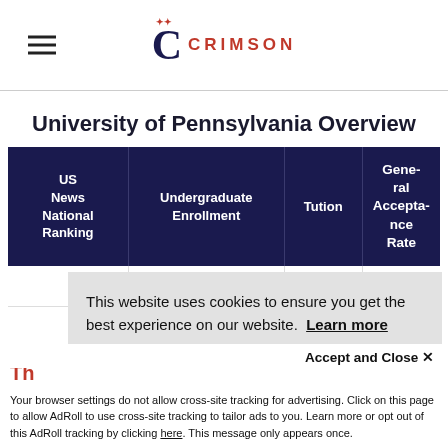Crimson Education logo and navigation
University of Pennsylvania Overview
| US News National Ranking | Undergraduate Enrollment | Tution | General Acceptance Rate |
| --- | --- | --- | --- |
|  |  |  |  |
This website uses cookies to ensure you get the best experience on our website. Learn more
Accept and Close ×
Your browser settings do not allow cross-site tracking for advertising. Click on this page to allow AdRoll to use cross-site tracking to tailor ads to you. Learn more or opt out of this AdRoll tracking by clicking here. This message only appears once.